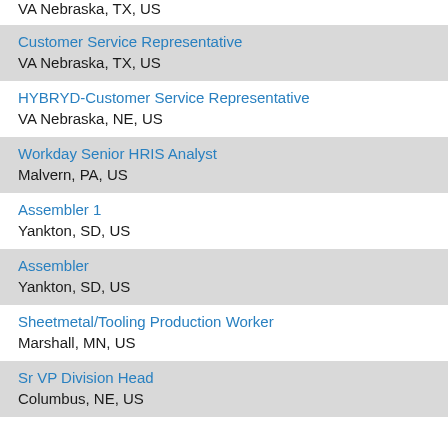VA Nebraska, TX, US
Customer Service Representative
VA Nebraska, TX, US
HYBRYD-Customer Service Representative
VA Nebraska, NE, US
Workday Senior HRIS Analyst
Malvern, PA, US
Assembler 1
Yankton, SD, US
Assembler
Yankton, SD, US
Sheetmetal/Tooling Production Worker
Marshall, MN, US
Sr VP Division Head
Columbus, NE, US